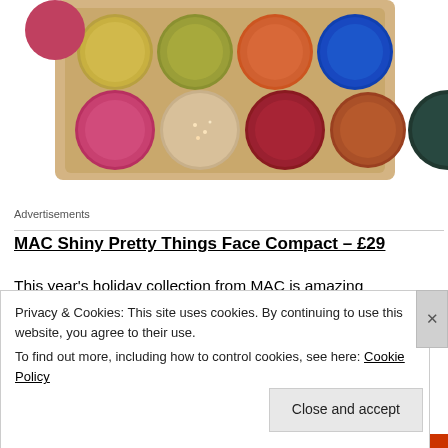[Figure (photo): MAC eyeshadow palette with multiple colorful circular pans in a gold compact case, showing pinks, nudes, reds, oranges, dark teal, and glittery shades.]
Advertisements
MAC Shiny Pretty Things Face Compact – £29
This year's holiday collection from MAC is amazing
Privacy & Cookies: This site uses cookies. By continuing to use this website, you agree to their use.
To find out more, including how to control cookies, see here: Cookie Policy
Close and accept